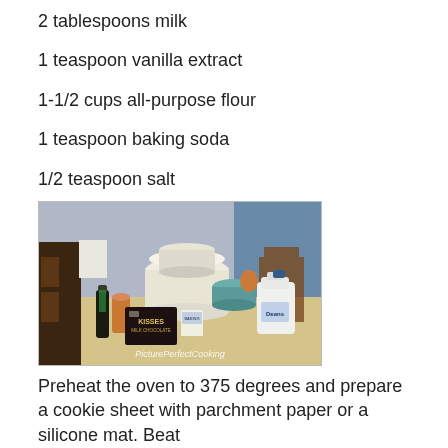2 tablespoons milk
1 teaspoon vanilla extract
1-1/2 cups all-purpose flour
1 teaspoon baking soda
1/2 teaspoon salt
[Figure (photo): Kitchen counter with baking ingredients including vanilla extract bottle, Hershey's Kisses bag, a milk jug, Tupperware containers, an egg, and other baking supplies. Watermark reads PicturePerfectCooking.]
Preheat the oven to 375 degrees and prepare a cookie sheet with parchment paper or a silicone mat.  Beat